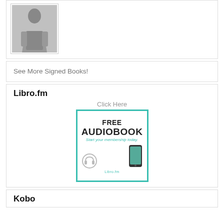[Figure (photo): Photo of a person in a white t-shirt and dark pants, standing with arms crossed in front of a door]
See More Signed Books!
Libro.fm
Click Here
[Figure (illustration): Libro.fm advertisement banner with teal border reading FREE AUDIOBOOK Start your membership today, with headphones and a smartphone graphic and Libro.fm logo]
Kobo